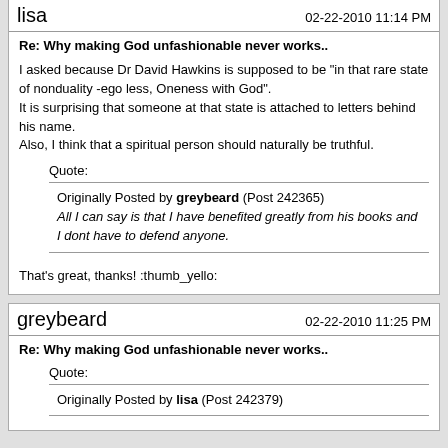lisa   02-22-2010 11:14 PM
Re: Why making God unfashionable never works..
I asked because Dr David Hawkins is supposed to be "in that rare state of nonduality -ego less, Oneness with God".
It is surprising that someone at that state is attached to letters behind his name.
Also, I think that a spiritual person should naturally be truthful.
Quote:
Originally Posted by greybeard (Post 242365)
All I can say is that I have benefited greatly from his books and I dont have to defend anyone.
That's great, thanks! :thumb_yello:
greybeard   02-22-2010 11:25 PM
Re: Why making God unfashionable never works..
Quote:
Originally Posted by lisa (Post 242379)